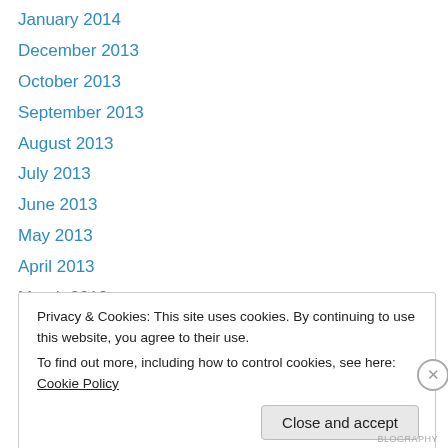January 2014
December 2013
October 2013
September 2013
August 2013
July 2013
June 2013
May 2013
April 2013
March 2013
February 2013
January 2013
December 2012
Privacy & Cookies: This site uses cookies. By continuing to use this website, you agree to their use.
To find out more, including how to control cookies, see here: Cookie Policy
Close and accept